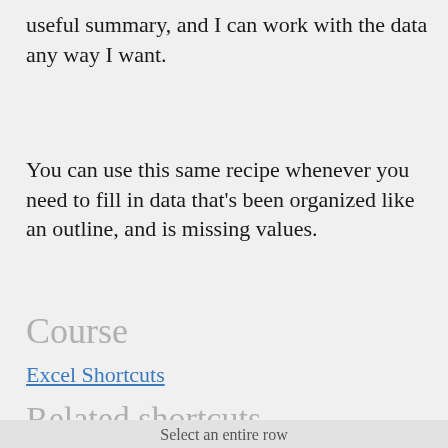useful summary, and I can work with the data any way I want.
You can use this same recipe whenever you need to fill in data that's been organized like an outline, and is missing values.
Course
Excel Shortcuts
Related shortcuts
Select an entire row